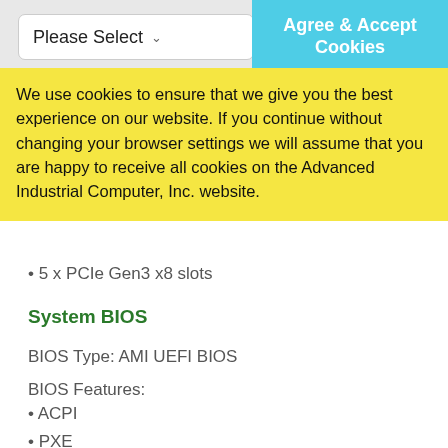[Figure (screenshot): Dropdown selector with 'Please Select' label and arrow]
[Figure (screenshot): Cyan 'Agree & Accept Cookies' button in top right corner]
We use cookies to ensure that we give you the best experience on our website. If you continue without changing your browser settings we will assume that you are happy to receive all cookies on the Advanced Industrial Computer, Inc. website.
• 5 x PCIe Gen3 x8 slots
System BIOS
BIOS Type: AMI UEFI BIOS
BIOS Features:
• ACPI
• PXE
• WOL
• AC loss recovery
• IPMI KCS interface